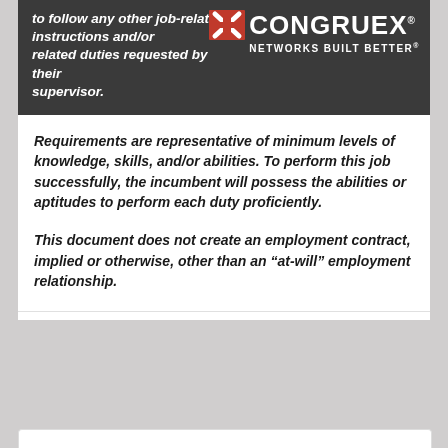to follow any other job-related instructions and/or related duties requested by their supervisor.
[Figure (logo): Congruex logo — red X mark with white CONGRUEX text and tagline NETWORKS BUILT BETTER on dark background]
Requirements are representative of minimum levels of knowledge, skills, and/or abilities. To perform this job successfully, the incumbent will possess the abilities or aptitudes to perform each duty proficiently.
This document does not create an employment contract, implied or otherwise, other than an “at-will” employment relationship.